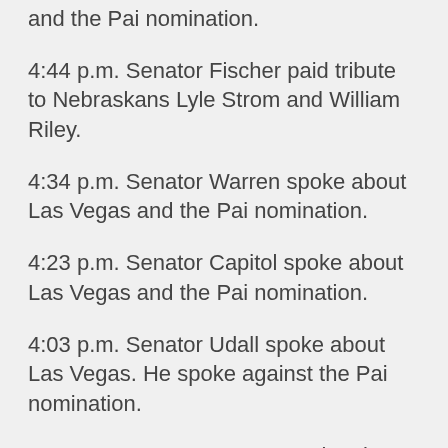and the Pai nomination.
4:44 p.m. Senator Fischer paid tribute to Nebraskans Lyle Strom and William Riley.
4:34 p.m. Senator Warren spoke about Las Vegas and the Pai nomination.
4:23 p.m. Senator Capitol spoke about Las Vegas and the Pai nomination.
4:03 p.m. Senator Udall spoke about Las Vegas. He spoke against the Pai nomination.
3:52 p.m. Senator Cornyn spoke about Las Vegas and about taxes.
3:35 p.m. Senator Moran spoke about regulation of the internet. He spoke in favor of the Pai nomination.